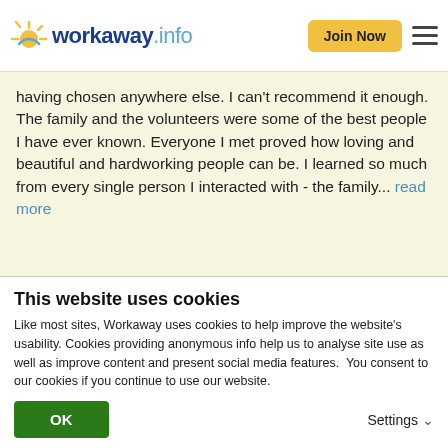workaway.info | Join Now
having chosen anywhere else. I can't recommend it enough. The family and the volunteers were some of the best people I have ever known. Everyone I met proved how loving and beautiful and hardworking people can be. I learned so much from every single person I interacted with - the family... read more
[Figure (photo): Circular profile photo of a young woman with long brown hair, wearing a blue jacket, in front of a window]
[Figure (other): Five gold star rating]
This website uses cookies
Like most sites, Workaway uses cookies to help improve the website's usability. Cookies providing anonymous info help us to analyse site use as well as improve content and present social media features.  You consent to our cookies if you continue to use our website.
OK | Settings